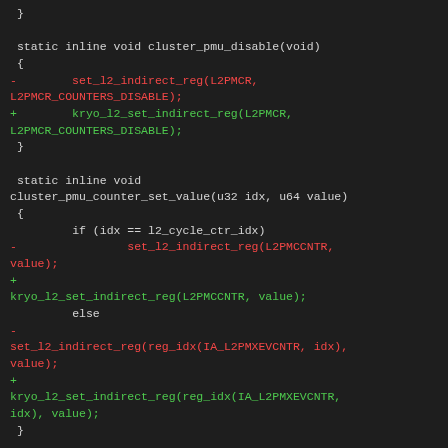[Figure (screenshot): Code diff screenshot showing C source code with removed lines (red) and added lines (green) replacing set_l2_indirect_reg calls with kryo_l2_set_indirect_reg calls in cluster_pmu_disable and cluster_pmu_counter_set_value functions, with a git diff hunk header at the bottom.]